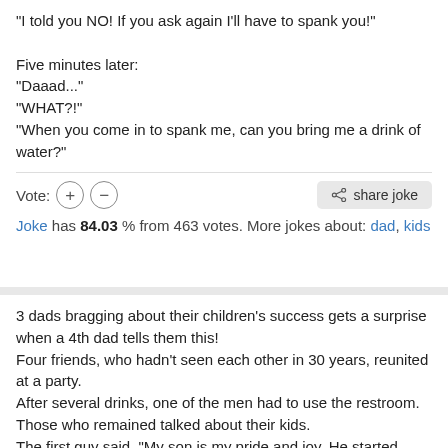"I told you NO! If you ask again I'll have to spank you!"

Five minutes later:
"Daaad..."
"WHAT?!"
"When you come in to spank me, can you bring me a drink of water?"
Vote: (+) (-) | share joke
Joke has 84.03 % from 463 votes. More jokes about: dad, kids
3 dads bragging about their children's success gets a surprise when a 4th dad tells them this!
Four friends, who hadn't seen each other in 30 years, reunited at a party.
After several drinks, one of the men had to use the restroom.
Those who remained talked about their kids.
The first guy said, "My son is my pride and joy. He started working at a successful company at the bottom of the